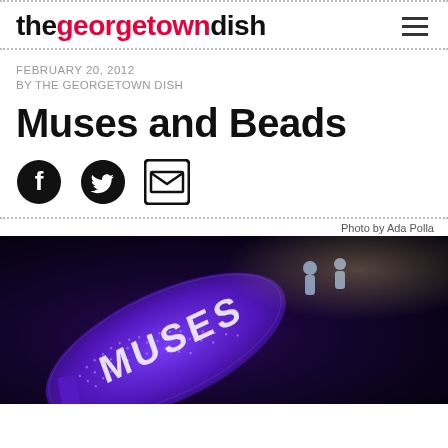thegeorgetowndish
FEBRUARY 20, 2012
BY THE GEORGETOWN DISH
Muses and Beads
[Figure (other): Social media sharing icons: Facebook, Twitter, Email]
Photo by Ada Polla
[Figure (photo): Night-time photograph of a large illuminated high-heel shoe float decorated with blue LED lights, with the word 'MUSES' written on it and people visible on top. The Muses parade float.]